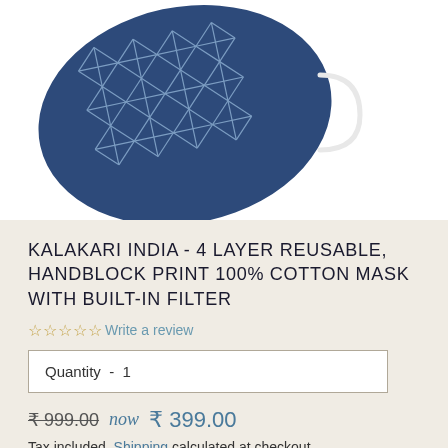[Figure (photo): Product photo of a navy blue face mask with white geometric/star handblock print pattern and white elastic ear loops, shown at an angle on a white background.]
KALAKARI INDIA - 4 LAYER REUSABLE, HANDBLOCK PRINT 100% COTTON MASK WITH BUILT-IN FILTER
☆☆☆☆☆ Write a review
Quantity - 1
₹ 999.00  now  ₹ 399.00
Tax included. Shipping calculated at checkout